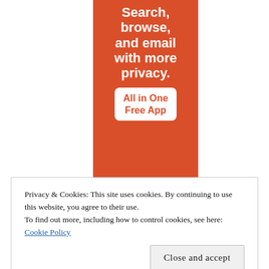[Figure (illustration): Advertisement banner on orange/red background showing text 'Search, browse, and email with more privacy. All in One Free App' with a white badge area for the app label, over a phone device mockup bottom]
Privacy & Cookies: This site uses cookies. By continuing to use this website, you agree to their use.
To find out more, including how to control cookies, see here: Cookie Policy
Close and accept